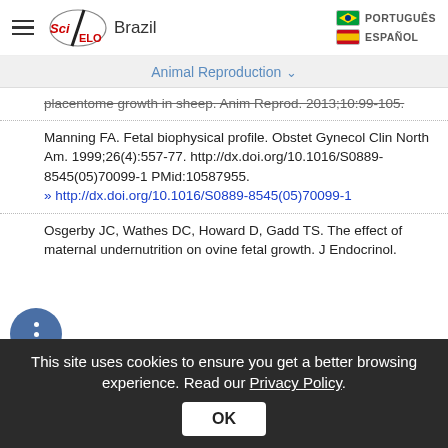SciELO Brazil | PORTUGUÊS | ESPAÑOL
Animal Reproduction
placentome growth in sheep. Anim Reprod. 2013;10:99-105.
Manning FA. Fetal biophysical profile. Obstet Gynecol Clin North Am. 1999;26(4):557-77. http://dx.doi.org/10.1016/S0889-8545(05)70099-1 PMid:10587955. » http://dx.doi.org/10.1016/S0889-8545(05)70099-1
Osgerby JC, Wathes DC, Howard D, Gadd TS. The effect of maternal undernutrition on ovine fetal growth. J Endocrinol.
This site uses cookies to ensure you get a better browsing experience. Read our Privacy Policy.